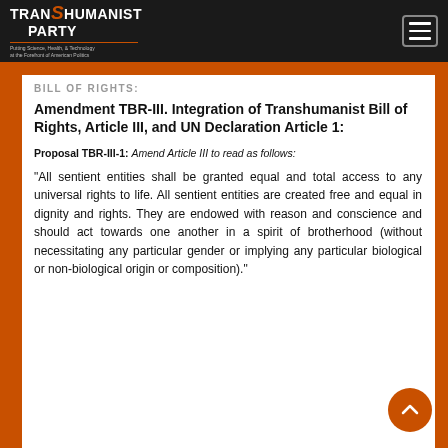Transhumanist Party — Navigation bar with logo and hamburger menu
BILL OF RIGHTS:
Amendment TBR-III. Integration of Transhumanist Bill of Rights, Article III, and UN Declaration Article 1:
Proposal TBR-III-1: Amend Article III to read as follows:
“All sentient entities shall be granted equal and total access to any universal rights to life. All sentient entities are created free and equal in dignity and rights. They are endowed with reason and conscience and should act towards one another in a spirit of brotherhood (without necessitating any particular gender or implying any particular biological or non-biological origin or composition).”